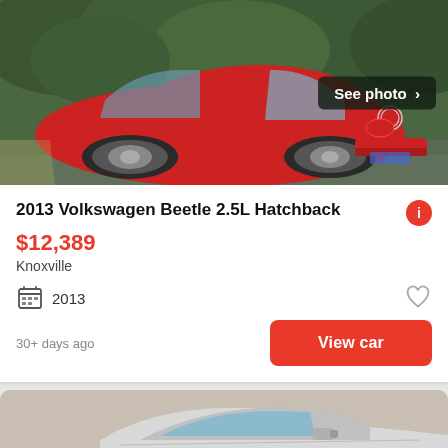[Figure (photo): Red Volkswagen Beetle 2.5L Hatchback photographed from the rear-side angle against a green tree background. 'See photo >' button overlay in top right.]
2013 Volkswagen Beetle 2.5L Hatchback
$12,389
Knoxville
2013
30+ days ago
View car
[Figure (photo): Partial view of a white/silver car, showing the front side and mirror, against a beige background.]